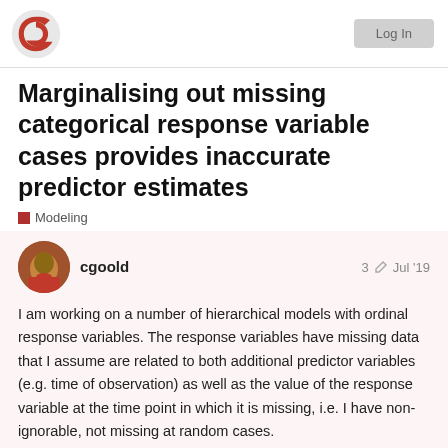Discourse forum header with logo and Log In button
Marginalising out missing categorical response variable cases provides inaccurate predictor estimates
Modeling
cgoold  3  Jul '19
I am working on a number of hierarchical models with ordinal response variables. The response variables have missing data that I assume are related to both additional predictor variables (e.g. time of observation) as well as the value of the response variable at the time point in which it is missing, i.e. I have non-ignorable, not missing at random cases.
I have been trying to marginalise out the m
Loading [MathJax]/extensions/MathEvents.js
gettin
1 / 7